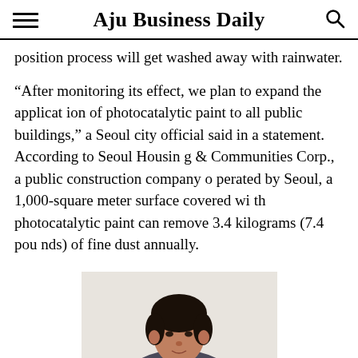Aju Business Daily
position process will get washed away with rainwater.
“After monitoring its effect, we plan to expand the application of photocatalytic paint to all public buildings,” a Seoul city official said in a statement. According to Seoul Housing & Communities Corp., a public construction company operated by Seoul, a 1,000-square meter surface covered with photocatalytic paint can remove 3.4 kilograms (7.4 pounds) of fine dust annually.
[Figure (photo): Portrait photo of a person, cropped at the top of the frame, showing head and shoulders]